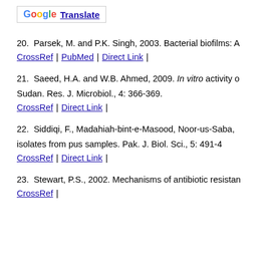[Figure (logo): Google Translate button with G logo and underlined Translate text]
20. Parsek, M. and P.K. Singh, 2003. Bacterial biofilms: A
CrossRef | PubMed | Direct Link |
21. Saeed, H.A. and W.B. Ahmed, 2009. In vitro activity of... Sudan. Res. J. Microbiol., 4: 366-369.
CrossRef | Direct Link |
22. Siddiqi, F., Madahiah-bint-e-Masood, Noor-us-Saba,... isolates from pus samples. Pak. J. Biol. Sci., 5: 491-4
CrossRef | Direct Link |
23. Stewart, P.S., 2002. Mechanisms of antibiotic resistan...
CrossRef |